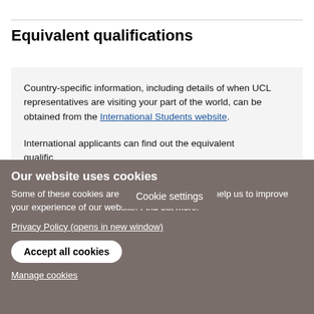Equivalent qualifications
Country-specific information, including details of when UCL representatives are visiting your part of the world, can be obtained from the International Students website.
International applicants can find out the equivalent qualifications for their country by
Cookie settings
Our website uses cookies
Some of these cookies are essential, while others help us to improve your experience of our website. Find out more:
Privacy Policy (opens in new window)
Accept all cookies
Manage cookies